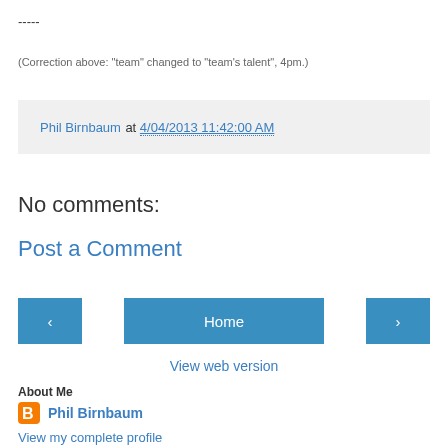-----
(Correction above: "team" changed to "team's talent", 4pm.)
Phil Birnbaum at 4/04/2013 11:42:00 AM
No comments:
Post a Comment
Home
View web version
About Me
Phil Birnbaum
View my complete profile